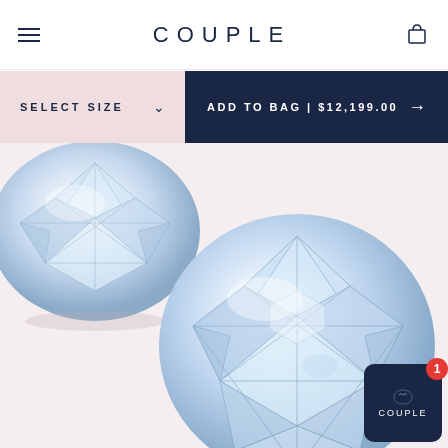COUPLE
SELECT SIZE
ADD TO BAG | $12,199.00
[Figure (photo): Two round brilliant-cut diamonds on a soft pink background. A smaller diamond appears at the upper left, and a larger diamond is displayed prominently in the center-right of the image.]
[Figure (logo): COUPLE app badge icon with red notification badge showing count 1, dark navy background with rounded corners]